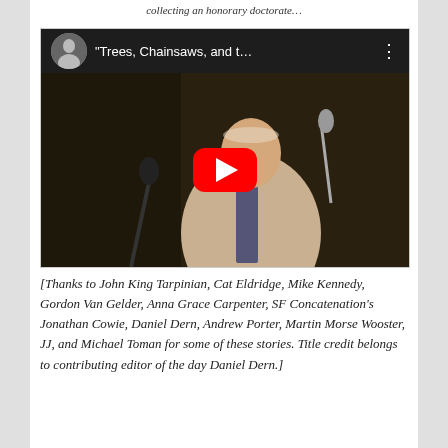collecting an honorary doctorate…
[Figure (screenshot): YouTube video embed showing a man in a light blazer speaking at a microphone, with a YouTube play button overlay. Video title: "Trees, Chainsaws, and t…"]
[Thanks to John King Tarpinian, Cat Eldridge, Mike Kennedy, Gordon Van Gelder, Anna Grace Carpenter, SF Concatenation's Jonathan Cowie, Daniel Dern, Andrew Porter, Martin Morse Wooster, JJ, and Michael Toman for some of these stories. Title credit belongs to contributing editor of the day Daniel Dern.]